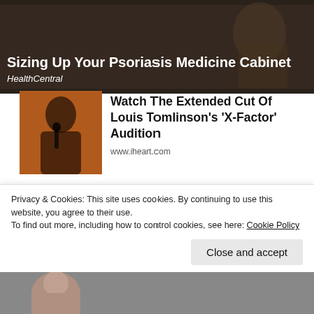[Figure (photo): Dark banner image showing text overlay: 'Sizing Up Your Psoriasis Medicine Cabinet' from HealthCentral]
Sizing Up Your Psoriasis Medicine Cabinet
HealthCentral
[Figure (photo): Photo of a young man singing into a microphone against an orange-lit background]
Watch The Extended Cut Of Louis Tomlinson's 'X-Factor' Audition
www.iheart.com
[Figure (photo): Close-up photo of a hand holding a small capsule/pill against a green background]
Finding the Right Meds for Your PsO Skin
HealthCentral.com
Privacy & Cookies: This site uses cookies. By continuing to use this website, you agree to their use.
To find out more, including how to control cookies, see here: Cookie Policy
Close and accept
[Figure (photo): Partial photo at bottom of page showing a person's face]